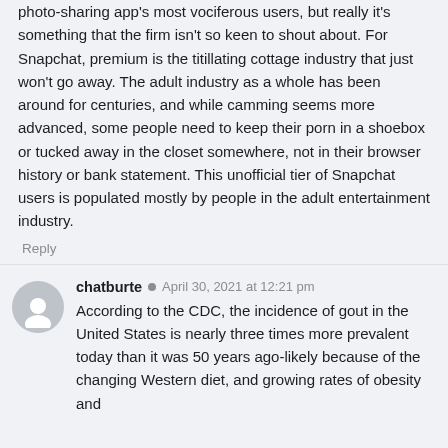photo-sharing app's most vociferous users, but really it's something that the firm isn't so keen to shout about. For Snapchat, premium is the titillating cottage industry that just won't go away. The adult industry as a whole has been around for centuries, and while camming seems more advanced, some people need to keep their porn in a shoebox or tucked away in the closet somewhere, not in their browser history or bank statement. This unofficial tier of Snapchat users is populated mostly by people in the adult entertainment industry.
Reply
chatburte · April 30, 2021 at 12:21 pm
According to the CDC, the incidence of gout in the United States is nearly three times more prevalent today than it was 50 years ago-likely because of the changing Western diet, and growing rates of obesity and